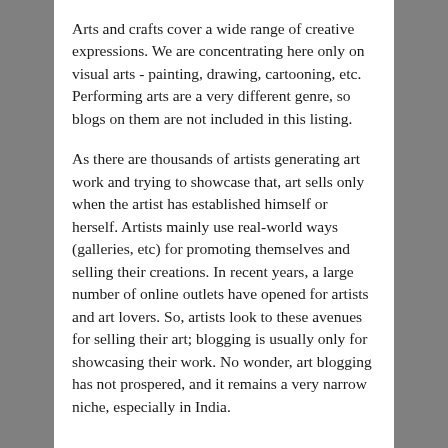Arts and crafts cover a wide range of creative expressions. We are concentrating here only on visual arts - painting, drawing, cartooning, etc. Performing arts are a very different genre, so blogs on them are not included in this listing.
As there are thousands of artists generating art work and trying to showcase that, art sells only when the artist has established himself or herself. Artists mainly use real-world ways (galleries, etc) for promoting themselves and selling their creations. In recent years, a large number of online outlets have opened for artists and art lovers. So, artists look to these avenues for selling their art; blogging is usually only for showcasing their work. No wonder, art blogging has not prospered, and it remains a very narrow niche, especially in India.